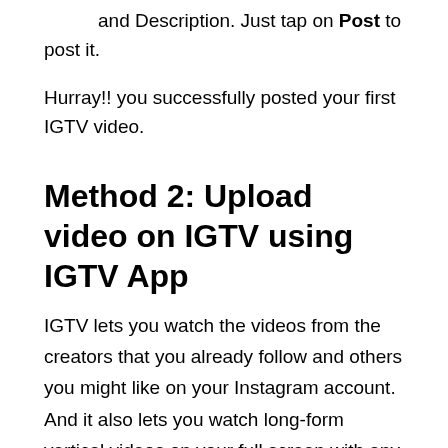and Description. Just tap on Post to post it.
Hurray!! you successfully posted your first IGTV video.
Method 2: Upload video on IGTV using IGTV App
IGTV lets you watch the videos from the creators that you already follow and others you might like on your Instagram account. And it also lets you watch long-form vertical videos on your full screen with any black boxes on the sides. The IGTV app allows you